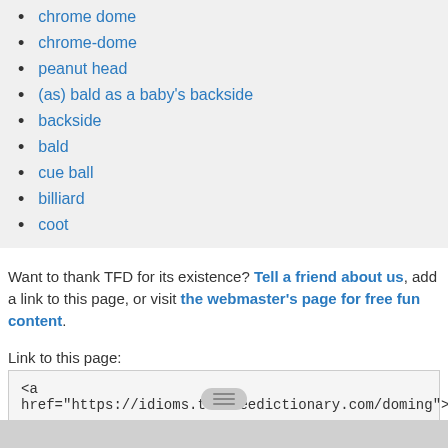chrome dome
chrome-dome
peanut head
(as) bald as a baby's backside
backside
bald
cue ball
billiard
coot
Want to thank TFD for its existence? Tell a friend about us, add a link to this page, or visit the webmaster's page for free fun content.
Link to this page:
<a href="https://idioms.thefreedictionary.com/doming">dome</a>